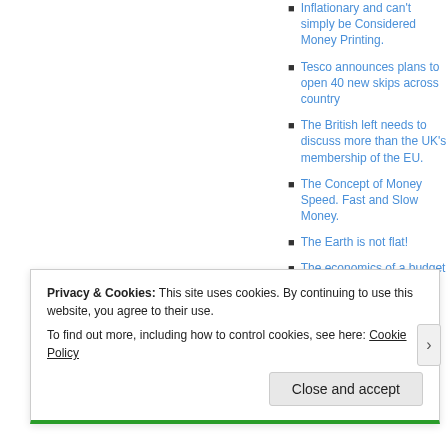Inflationary and can't simply be Considered Money Printing.
Tesco announces plans to open 40 new skips across country
The British left needs to discuss more than the UK's membership of the EU.
The Concept of Money Speed. Fast and Slow Money.
The Earth is not flat!
The economics of a budget surplus:
Privacy & Cookies: This site uses cookies. By continuing to use this website, you agree to their use.
To find out more, including how to control cookies, see here: Cookie Policy
Close and accept